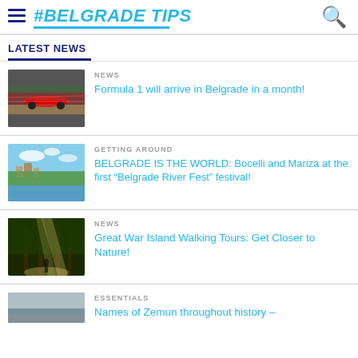#BELGRADE TIPS
LATEST NEWS
NEWS
Formula 1 will arrive in Belgrade in a month!
[Figure (photo): Formula 1 racing car on track with motion blur]
GETTING AROUND
BELGRADE IS THE WORLD: Bocelli and Mariza at the first “Belgrade River Fest” festival!
[Figure (photo): Aerial view of Belgrade by the river with buildings and nature]
NEWS
Great War Island Walking Tours: Get Closer to Nature!
[Figure (photo): Forest with sunlight beaming through tall trees]
ESSENTIALS
Names of Zemun throughout history –